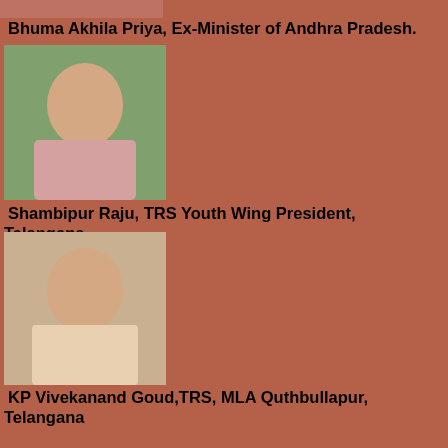[Figure (photo): Partial photo of Bhuma Akhila Priya at top of page]
Bhuma Akhila Priya, Ex-Minister of Andhra Pradesh.
[Figure (photo): Photo of Shambipur Raju]
Shambipur Raju, TRS Youth Wing President, Telangana.
[Figure (photo): Photo of KP Vivekanand Goud]
KP Vivekanand Goud,TRS, MLA Quthbullapur, Telangana
[Figure (photo): Photo of Gadwal Vijaya Laxmi]
Gadwal Vijaya Laxmi, Mayor GHMC, Telangana.
[Figure (photo): Photo of Tera Chinnapa Reddy]
Tera Chinnapa Reddy, EX MLC TRS, Nalgonda, Telangana.
[Figure (photo): Partial photo at bottom of page]